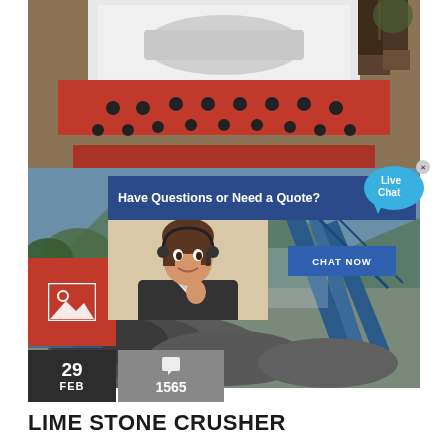[Figure (photo): Top-down view of a stone crusher machine with red frame and black mounting bolts, person's boots visible at top right]
[Figure (photo): Industrial quarry/mining facility with blue conveyor belts and piles of crushed stone/limestone]
[Figure (screenshot): Live chat popup overlay: 'Have Questions or Need a Quote?' with CHAT NOW button and woman wearing headset, and Live Chat speech bubble icon]
LIME STONE CRUSHER